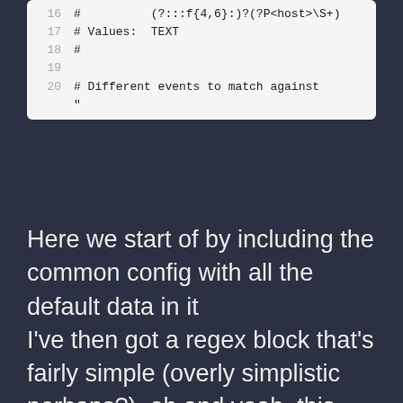[Figure (screenshot): Code block showing lines 16-20 of a configuration file with regex and comments]
Here we start of by including the common config with all the default data in it I've then got a regex block that's fairly simple (overly simplistic perhaps?), oh and yeah, this uses the default apache log format common. Once they were running I started watching the logfile for a while (tail -f /var/log/apache2/other_vhost_access.log | grep wp-login) and I would see 5 hits against